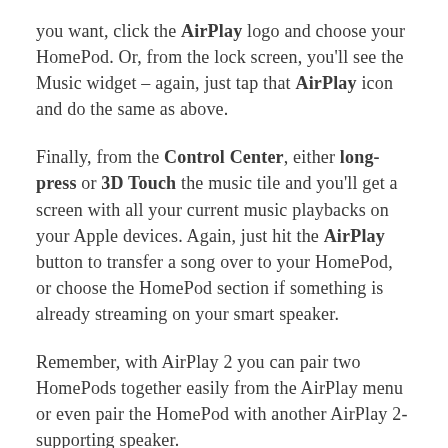you want, click the AirPlay logo and choose your HomePod. Or, from the lock screen, you'll see the Music widget – again, just tap that AirPlay icon and do the same as above.
Finally, from the Control Center, either long-press or 3D Touch the music tile and you'll get a screen with all your current music playbacks on your Apple devices. Again, just hit the AirPlay button to transfer a song over to your HomePod, or choose the HomePod section if something is already streaming on your smart speaker.
Remember, with AirPlay 2 you can pair two HomePods together easily from the AirPlay menu or even pair the HomePod with another AirPlay 2-supporting speaker.